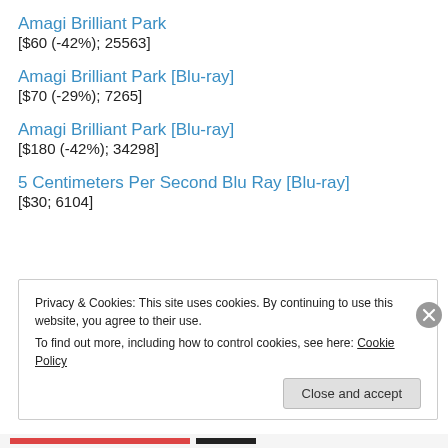Amagi Brilliant Park
[$60 (-42%); 25563]
Amagi Brilliant Park [Blu-ray]
[$70 (-29%); 7265]
Amagi Brilliant Park [Blu-ray]
[$180 (-42%); 34298]
5 Centimeters Per Second Blu Ray [Blu-ray]
[$30; 6104]
Privacy & Cookies: This site uses cookies. By continuing to use this website, you agree to their use.
To find out more, including how to control cookies, see here: Cookie Policy
Close and accept